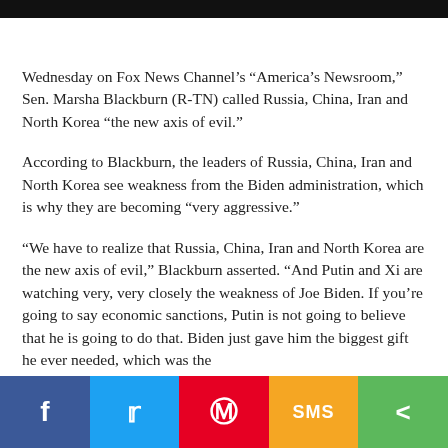Wednesday on Fox News Channel's “America’s Newsroom,” Sen. Marsha Blackburn (R-TN) called Russia, China, Iran and North Korea “the new axis of evil.”
According to Blackburn, the leaders of Russia, China, Iran and North Korea see weakness from the Biden administration, which is why they are becoming “very aggressive.”
“We have to realize that Russia, China, Iran and North Korea are the new axis of evil,” Blackburn asserted. “And Putin and Xi are watching very, very closely the weakness of Joe Biden. If you’re going to say economic sanctions, Putin is not going to believe that he is going to do that. Biden just gave him the biggest gift he ever needed, which was the
Share buttons: Facebook, Twitter, Pinterest, SMS, Share